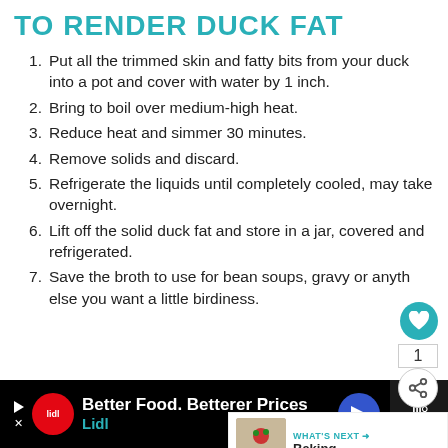TO RENDER DUCK FAT
Put all the trimmed skin and fatty bits from your duck into a pot and cover with water by 1 inch.
Bring to boil over medium-high heat.
Reduce heat and simmer 30 minutes.
Remove solids and discard.
Refrigerate the liquids until completely cooled, may take overnight.
Lift off the solid duck fat and store in a jar, covered and refrigerated.
Save the broth to use for bean soups, gravy or anything else you want a little birdiness.
WHAT'S NEXT → Baking
Better Food. Betterer Prices Lidl